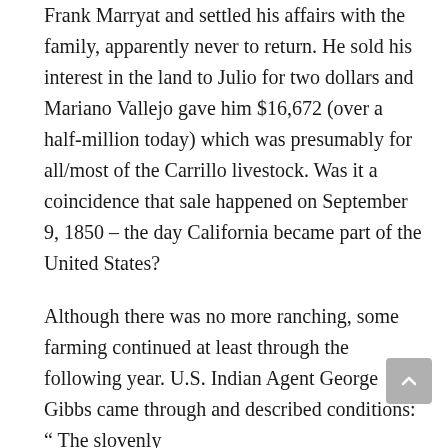Frank Marryat and settled his affairs with the family, apparently never to return. He sold his interest in the land to Julio for two dollars and Mariano Vallejo gave him $16,672 (over a half-million today) which was presumably for all/most of the Carrillo livestock. Was it a coincidence that sale happened on September 9, 1850 – the day California became part of the United States?
Although there was no more ranching, some farming continued at least through the following year. U.S. Indian Agent George Gibbs came through and described conditions: “ The slovenly